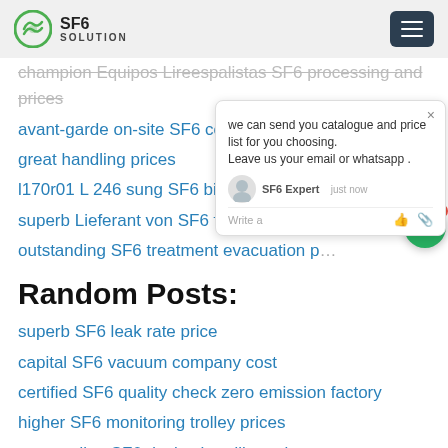SF6 SOLUTION
champion Equipos Lireespalistas SF6 processing and prices
avant-garde on-site SF6 company price
great handling prices
l170r01 L 246 sung SF6 bid cost
superb Lieferant von SF6 free price
outstanding SF6 treatment evacuation p…
Random Posts:
superb SF6 leak rate price
capital SF6 vacuum company cost
certified SF6 quality check zero emission factory
higher SF6 monitoring trolley prices
outstanding SF6 device handling price
outstanding SF6 analyzer technical manual
great SF6 connector handling for sale